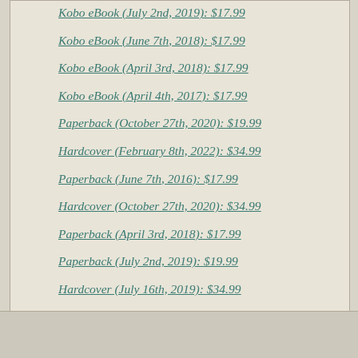Kobo eBook (July 2nd, 2019): $17.99
Kobo eBook (June 7th, 2018): $17.99
Kobo eBook (April 3rd, 2018): $17.99
Kobo eBook (April 4th, 2017): $17.99
Paperback (October 27th, 2020): $19.99
Hardcover (February 8th, 2022): $34.99
Paperback (June 7th, 2016): $17.99
Hardcover (October 27th, 2020): $34.99
Paperback (April 3rd, 2018): $17.99
Paperback (July 2nd, 2019): $19.99
Hardcover (July 16th, 2019): $34.99
Paperback (April 4th, 2017): $17.99